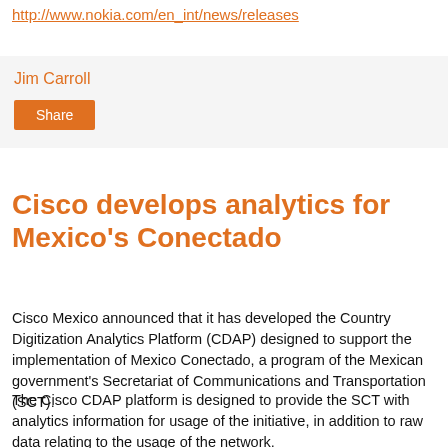http://www.nokia.com/en_int/news/releases
Jim Carroll
Share
Cisco develops analytics for Mexico's Conectado
Cisco Mexico announced that it has developed the Country Digitization Analytics Platform (CDAP) designed to support the implementation of Mexico Conectado, a program of the Mexican government's Secretariat of Communications and Transportation (SCT).
The Cisco CDAP platform is designed to provide the SCT with analytics information for usage of the initiative, in addition to raw data relating to the usage of the network.